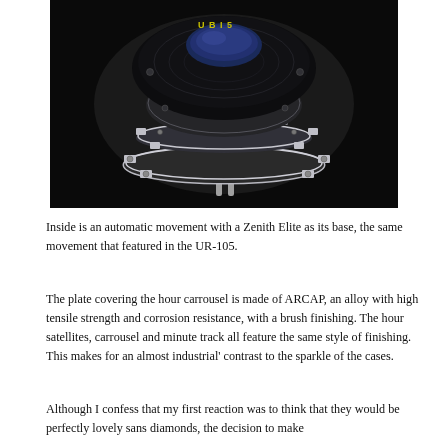[Figure (photo): Exploded view of a luxury watch movement showing disassembled components including the dial, case, movement, and metal rings, all against a black background.]
Inside is an automatic movement with a Zenith Elite as its base, the same movement that featured in the UR-105.
The plate covering the hour carrousel is made of ARCAP, an alloy with high tensile strength and corrosion resistance, with a brush finishing. The hour satellites, carrousel and minute track all feature the same style of finishing. This makes for an almost industrial' contrast to the sparkle of the cases.
Although I confess that my first reaction was to think that they would be perfectly lovely sans diamonds, the decision to make